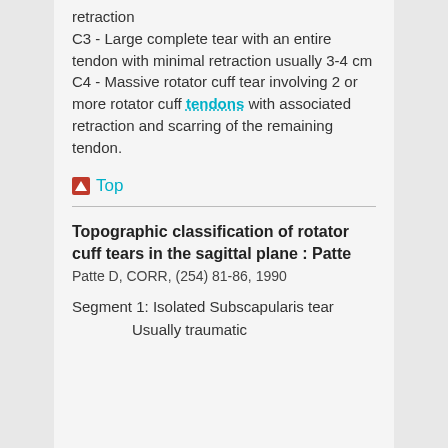retraction
C3 - Large complete tear with an entire tendon with minimal retraction usually 3-4 cm
C4 - Massive rotator cuff tear involving 2 or more rotator cuff tendons with associated retraction and scarring of the remaining tendon.
▲ Top
Topographic classification of rotator cuff tears in the sagittal plane : Patte
Patte D, CORR, (254) 81-86, 1990
Segment 1: Isolated Subscapularis tear
    Usually traumatic